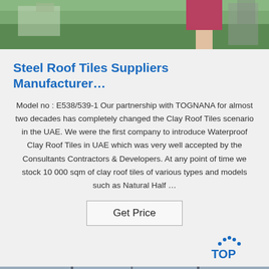[Figure (photo): Top portion of a factory/workshop interior photo showing green floor and a person standing]
Steel Roof Tiles Suppliers Manufacturer…
Model no : E538/539-1 Our partnership with TOGNANA for almost two decades has completely changed the Clay Roof Tiles scenario in the UAE. We were the first company to introduce Waterproof Clay Roof Tiles in UAE which was very well accepted by the Consultants Contractors & Developers. At any point of time we stock 10 000 sqm of clay roof tiles of various types and models such as Natural Half …
[Figure (logo): TOP logo with dotted arc above the text in blue color]
[Figure (photo): Bottom factory/warehouse interior photo showing steel structure and large industrial building interior]